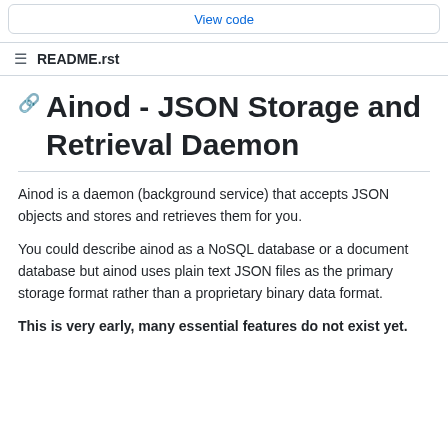View code
README.rst
Ainod - JSON Storage and Retrieval Daemon
Ainod is a daemon (background service) that accepts JSON objects and stores and retrieves them for you.
You could describe ainod as a NoSQL database or a document database but ainod uses plain text JSON files as the primary storage format rather than a proprietary binary data format.
This is very early, many essential features do not exist yet.